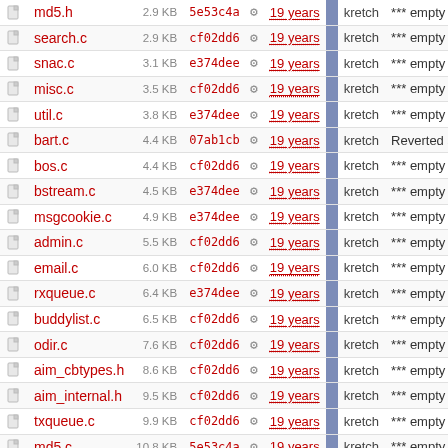|  | Name | Size | Hash | Age | Author | Message |
| --- | --- | --- | --- | --- | --- | --- |
|  | md5.h | 2.9 KB | 5e53c4a | 19 years | kretch | *** empty l |
|  | search.c | 2.9 KB | cf02dd6 | 19 years | kretch | *** empty l |
|  | snac.c | 3.1 KB | e374dee | 19 years | kretch | *** empty l |
|  | misc.c | 3.5 KB | cf02dd6 | 19 years | kretch | *** empty l |
|  | util.c | 3.8 KB | e374dee | 19 years | kretch | *** empty l |
|  | bart.c | 4.4 KB | 07ab1cb | 19 years | kretch | Reverted s |
|  | bos.c | 4.4 KB | cf02dd6 | 19 years | kretch | *** empty l |
|  | bstream.c | 4.5 KB | e374dee | 19 years | kretch | *** empty l |
|  | msgcookie.c | 4.9 KB | e374dee | 19 years | kretch | *** empty l |
|  | admin.c | 5.5 KB | cf02dd6 | 19 years | kretch | *** empty l |
|  | email.c | 6.0 KB | cf02dd6 | 19 years | kretch | *** empty l |
|  | rxqueue.c | 6.4 KB | e374dee | 19 years | kretch | *** empty l |
|  | buddylist.c | 6.5 KB | cf02dd6 | 19 years | kretch | *** empty l |
|  | odir.c | 7.6 KB | cf02dd6 | 19 years | kretch | *** empty l |
|  | aim_cbtypes.h | 8.6 KB | cf02dd6 | 19 years | kretch | *** empty l |
|  | aim_internal.h | 9.5 KB | cf02dd6 | 19 years | kretch | *** empty l |
|  | txqueue.c | 9.9 KB | cf02dd6 | 19 years | kretch | *** empty l |
|  | md5.c | 10.8 KB | 5e53c4a | 19 years | kretch | *** empty l |
|  | chatnav.c | 11.3 KB | cf02dd6 | 19 years | kretch | *** empty l |